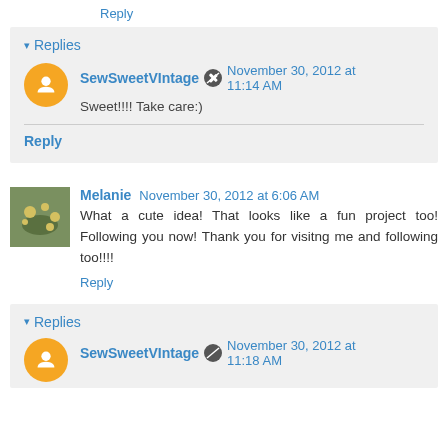Reply
Replies
SewSweetVIntage  November 30, 2012 at 11:14 AM
Sweet!!!! Take care:)
Reply
Melanie  November 30, 2012 at 6:06 AM
What a cute idea! That looks like a fun project too! Following you now! Thank you for visitng me and following too!!!!
Reply
Replies
SewSweetVIntage  November 30, 2012 at 11:18 AM